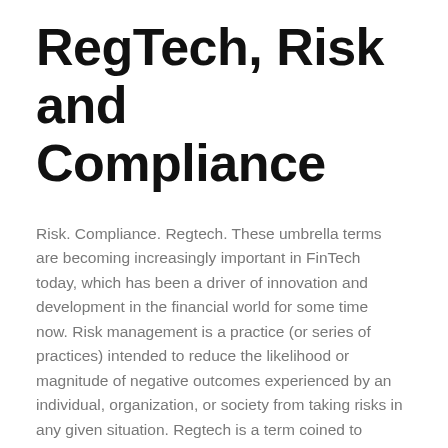RegTech, Risk and Compliance
Risk. Compliance. Regtech. These umbrella terms are becoming increasingly important in FinTech today, which has been a driver of innovation and development in the financial world for some time now. Risk management is a practice (or series of practices) intended to reduce the likelihood or magnitude of negative outcomes experienced by an individual, organization, or society from taking risks in any given situation. Regtech is a term coined to describe the application of risk management and compliance tools to financial markets.